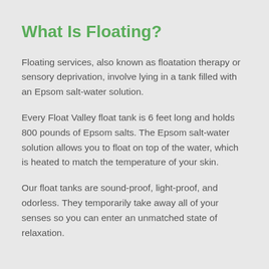What Is Floating?
Floating services, also known as floatation therapy or sensory deprivation, involve lying in a tank filled with an Epsom salt-water solution.
Every Float Valley float tank is 6 feet long and holds 800 pounds of Epsom salts. The Epsom salt-water solution allows you to float on top of the water, which is heated to match the temperature of your skin.
Our float tanks are sound-proof, light-proof, and odorless. They temporarily take away all of your senses so you can enter an unmatched state of relaxation.